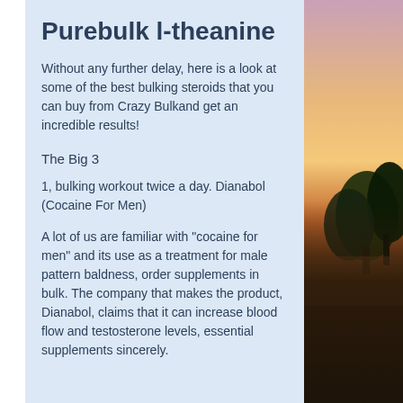Purebulk l-theanine
Without any further delay, here is a look at some of the best bulking steroids that you can buy from Crazy Bulkand get an incredible results!
The Big 3
1, bulking workout twice a day. Dianabol (Cocaine For Men)
A lot of us are familiar with "cocaine for men" and its use as a treatment for male pattern baldness, order supplements in bulk. The company that makes the product, Dianabol, claims that it can increase blood flow and testosterone levels, essential supplements sincerely.
[Figure (photo): Outdoor sunset photo showing silhouette of trees reflected in water, with orange and pink sky]